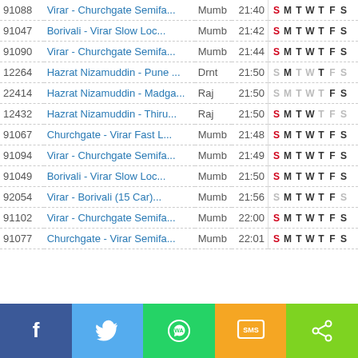| # | Train | Zone | Time | Days |
| --- | --- | --- | --- | --- |
| 91088 | Virar - Churchgate Semifa... | Mumb | 21:40 | S M T W T F S |
| 91047 | Borivali - Virar Slow Loc... | Mumb | 21:42 | S M T W T F S |
| 91090 | Virar - Churchgate Semifa... | Mumb | 21:44 | S M T W T F S |
| 12264 | Hazrat Nizamuddin - Pune ... | Drnt | 21:50 | S M T W T F S |
| 22414 | Hazrat Nizamuddin - Madga... | Raj | 21:50 | S M T W T F S |
| 12432 | Hazrat Nizamuddin - Thiru... | Raj | 21:50 | S M T W T F S |
| 91067 | Churchgate - Virar Fast L... | Mumb | 21:48 | S M T W T F S |
| 91094 | Virar - Churchgate Semifa... | Mumb | 21:49 | S M T W T F S |
| 91049 | Borivali - Virar Slow Loc... | Mumb | 21:50 | S M T W T F S |
| 92054 | Virar - Borivali (15 Car)... | Mumb | 21:56 | S M T W T F S |
| 91102 | Virar - Churchgate Semifa... | Mumb | 22:00 | S M T W T F S |
| 91077 | Churchgate - Virar Semifa... | Mumb | 22:01 | S M T W T F S |
[Figure (infographic): Bottom navigation bar with Facebook, Twitter, WhatsApp, SMS, and Share icons]